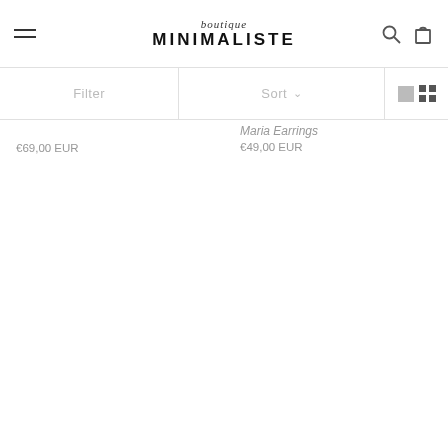boutique MINIMALISTE — navigation header with hamburger menu, logo, search and bag icons
Filter
Sort
Maria Earrings
€69,00 EUR
€49,00 EUR